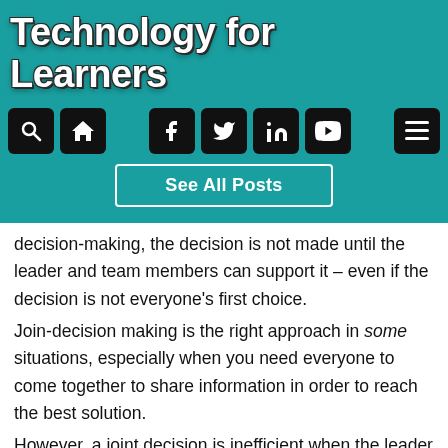Technology for Learners
[Figure (screenshot): Navigation bar with search, home, Facebook, Twitter, LinkedIn, YouTube icons and hamburger menu, all on teal background]
See All Posts
decision-making, the decision is not made until the leader and team members can support it – even if the decision is not everyone's first choice.
Join-decision making is the right approach in some situations, especially when you need everyone to come together to share information in order to reach the best solution.
However, a joint decision is inefficient when the leader already has all the information he needs to make a decision.
If a team cannot reach a consensus on a decision, they